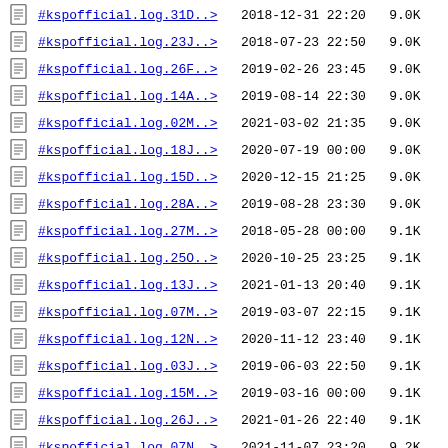#kspofficial.log.31D..>  2018-12-31 22:20  9.0K
#kspofficial.log.23J..>  2018-07-23 22:50  9.0K
#kspofficial.log.26F..>  2019-02-26 23:45  9.0K
#kspofficial.log.14A..>  2019-08-14 22:30  9.0K
#kspofficial.log.02M..>  2021-03-02 21:35  9.0K
#kspofficial.log.18J..>  2020-07-19 00:00  9.0K
#kspofficial.log.15D..>  2020-12-15 21:25  9.0K
#kspofficial.log.28A..>  2019-08-28 23:30  9.0K
#kspofficial.log.27M..>  2018-05-28 00:00  9.1K
#kspofficial.log.25O..>  2020-10-25 23:25  9.1K
#kspofficial.log.13J..>  2021-01-13 20:40  9.1K
#kspofficial.log.07M..>  2019-03-07 22:15  9.1K
#kspofficial.log.12N..>  2020-11-12 23:40  9.1K
#kspofficial.log.03J..>  2019-06-03 22:50  9.1K
#kspofficial.log.15M..>  2019-03-16 00:00  9.1K
#kspofficial.log.26J..>  2021-01-26 22:40  9.1K
#kspofficial.log.07N..>  2021-11-07 23:20  9.2K